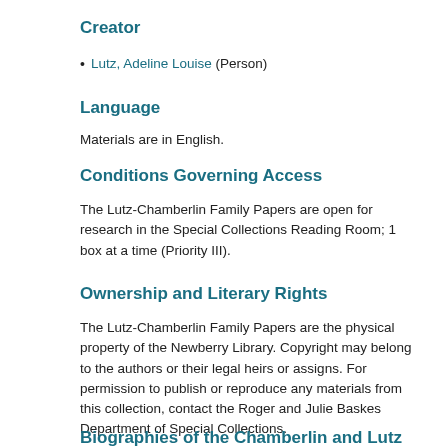Creator
Lutz, Adeline Louise (Person)
Language
Materials are in English.
Conditions Governing Access
The Lutz-Chamberlin Family Papers are open for research in the Special Collections Reading Room; 1 box at a time (Priority III).
Ownership and Literary Rights
The Lutz-Chamberlin Family Papers are the physical property of the Newberry Library. Copyright may belong to the authors or their legal heirs or assigns. For permission to publish or reproduce any materials from this collection, contact the Roger and Julie Baskes Department of Special Collections.
Biographies of the Chamberlin and Lutz